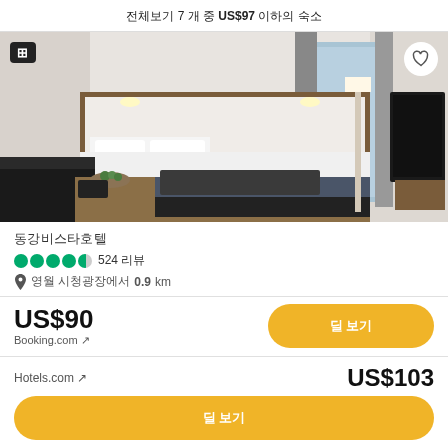전체보기 7 개 중 US$97 이하의 숙소
[Figure (photo): Hotel room interior with two beds, wooden headboard with lights, dark curtains, glass door to outside, TV on the wall]
동강비스타호텔
524 리뷰
영월 시청광장에서 0.9 km
US$90
Booking.com ↗
딜 보기
Hotels.com ↗
US$103
딜 보기